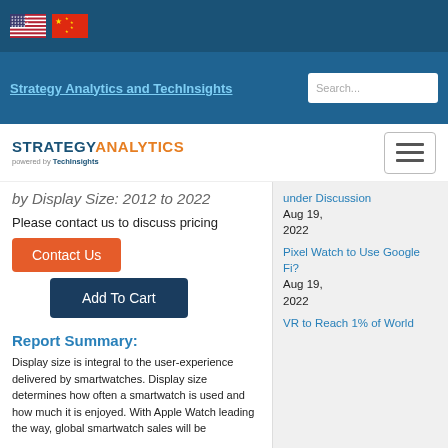Strategy Analytics and TechInsights
[Figure (logo): Strategy Analytics powered by TechInsights logo with hamburger menu button]
by Display Size: 2012 to 2022
Please contact us to discuss pricing
Contact Us
Add To Cart
Report Summary:
Display size is integral to the user-experience delivered by smartwatches. Display size determines how often a smartwatch is used and how much it is enjoyed. With Apple Watch leading the way, global smartwatch sales will be
under Discussion Aug 19, 2022
Pixel Watch to Use Google Fi? Aug 19, 2022
VR to Reach 1% of World